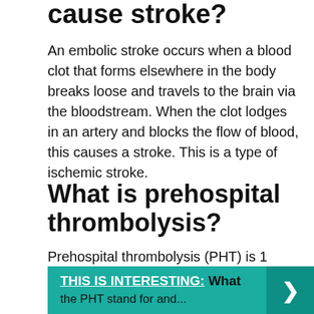cause stroke?
An embolic stroke occurs when a blood clot that forms elsewhere in the body breaks loose and travels to the brain via the bloodstream. When the clot lodges in an artery and blocks the flow of blood, this causes a stroke. This is a type of ischemic stroke.
What is prehospital thrombolysis?
Prehospital thrombolysis (PHT) is 1 strategy to deliver earlier reperfusion.
THIS IS INTERESTING:  What the PHT stand for and...